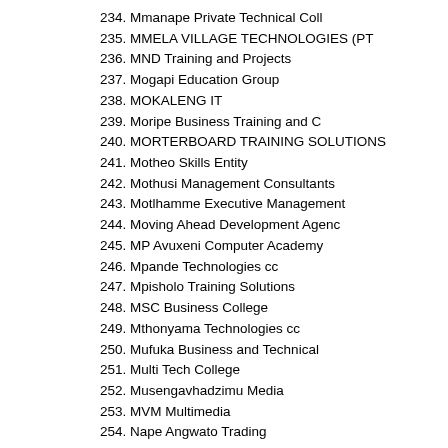234. Mmanape Private Technical Coll
235. MMELA VILLAGE TECHNOLOGIES (PT
236. MND Training and Projects
237. Mogapi Education Group
238. MOKALENG IT
239. Moripe Business Training and C
240. MORTERBOARD TRAINING SOLUTIONS
241. Motheo Skills Entity
242. Mothusi Management Consultants
243. Motlhamme Executive Management
244. Moving Ahead Development Agenc
245. MP Avuxeni Computer Academy
246. Mpande Technologies cc
247. Mpisholo Training Solutions
248. MSC Business College
249. Mthonyama Technologies cc
250. Mufuka Business and Technical
251. Multi Tech College
252. Musengavhadzimu Media
253. MVM Multimedia
254. Nape Angwato Trading
255. Natfin Holdings Pty Ltd
256. NBC Technologies
257. NCC - Vereeniging
258. Nchebeko Skills Consultancy (PTY) LTD
259. NCM Computer and Business Academy
260. Ndi...